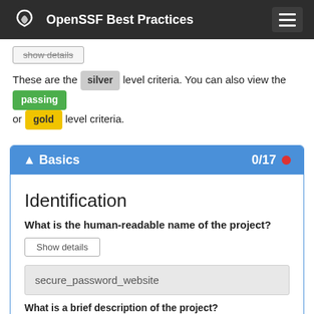OpenSSF Best Practices
show details
These are the silver level criteria. You can also view the passing or gold level criteria.
Basics 0/17
Identification
What is the human-readable name of the project?
Show details
secure_password_website
What is a brief description of the project?